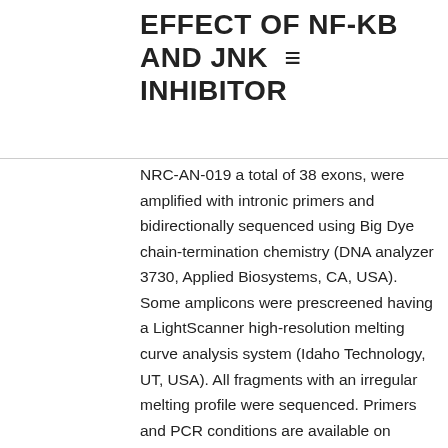EFFECT OF NF-KB AND JNK INHIBITOR
NRC-AN-019 a total of 38 exons, were amplified with intronic primers and bidirectionally sequenced using Big Dye chain-termination chemistry (DNA analyzer 3730, Applied Biosystems, CA, USA). Some amplicons were prescreened having a LightScanner high-resolution melting curve analysis system (Idaho Technology, UT, USA). All fragments with an irregular melting profile were sequenced. Primers and PCR conditions are available on request. 3.?Results 3.1. Study cohort A total of 65 (38 males) individuals were included in the study. 55 of the individuals fulfilled 1994 Task Force criteria for ARVC: two major